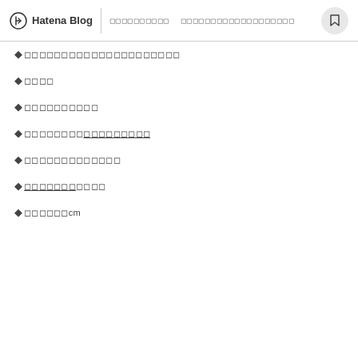Hatena Blog  ◻◻◻◻◻◻◻◻◻◻  ◻◻◻◻◻◻◻◻◻◻◻◻◻◻◻◻◻◻◻
◆◻◻◻◻◻◻◻◻◻◻◻◻◻◻◻◻◻◻◻◻
◆◻◻◻◻
◆◻◻◻◻◻◻◻◻◻
◆◻◻◻◻◻◻◻◻◻◻◻◻◻◻◻◻
◆◻◻◻◻◻◻◻◻◻◻◻◻
◆◻◻◻◻◻◻◻◻◻◻
◆◻◻◻◻◻◻cm